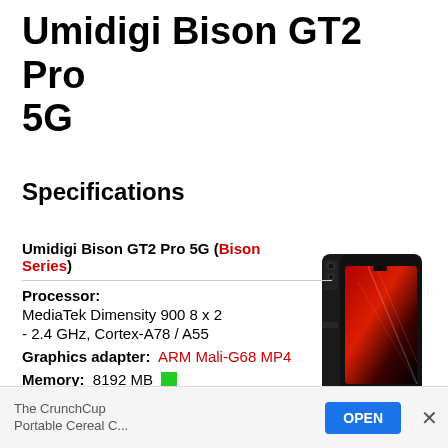Umidigi Bison GT2 Pro 5G
Specifications
Umidigi Bison GT2 Pro 5G (Bison Series)
[Figure (photo): Photo of Umidigi Bison GT2 Pro 5G smartphone, showing front and back, black color with rugged design and red display wallpaper]
Processor: MediaTek Dimensity 900 8 x 2 - 2.4 GHz, Cortex-A78 / A55
Graphics adapter: ARM Mali-G68 MP4
Memory: 8192 MB
Display: 6.50 inch 20:9, 2400 x 1080 pixel 405 PPI,
The CrunchCup Portable Cereal C... OPEN